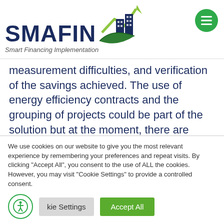[Figure (logo): SMAFIN logo with building and arrow graphic and green leaf. Text: SMAFIN Smart Financing Implementation]
measurement difficulties, and verification of the savings achieved. The use of energy efficiency contracts and the grouping of projects could be part of the solution but at the moment, there are difficulties due to lack of experience and know-how, complexity of projects and insufficient legislation. In contrast, funding opportunities, a favourable legal
We use cookies on our website to give you the most relevant experience by remembering your preferences and repeat visits. By clicking "Accept All", you consent to the use of ALL the cookies. However, you may visit "Cookie Settings" to provide a controlled consent.